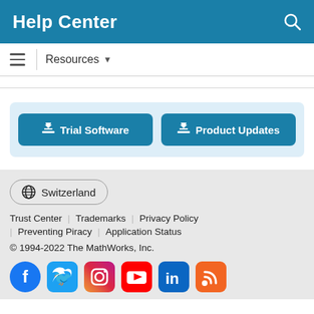Help Center
Resources ▼
[Figure (screenshot): Two download buttons: Trial Software and Product Updates]
Switzerland
Trust Center | Trademarks | Privacy Policy | Preventing Piracy | Application Status
© 1994-2022 The MathWorks, Inc.
[Figure (infographic): Social media icons: Facebook, Twitter, Instagram, YouTube, LinkedIn, RSS]